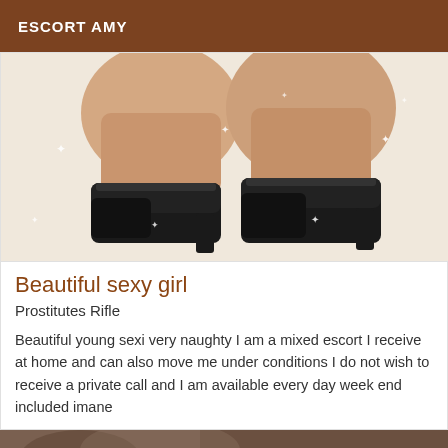ESCORT AMY
[Figure (photo): Close-up photo of person's legs wearing black high heel shoes on a white background with sparkle effects]
Beautiful sexy girl
Prostitutes Rifle
Beautiful young sexi very naughty I am a mixed escort I receive at home and can also move me under conditions I do not wish to receive a private call and I am available every day week end included imane
[Figure (photo): Partial photo at bottom of page with Online badge in brown]
Online